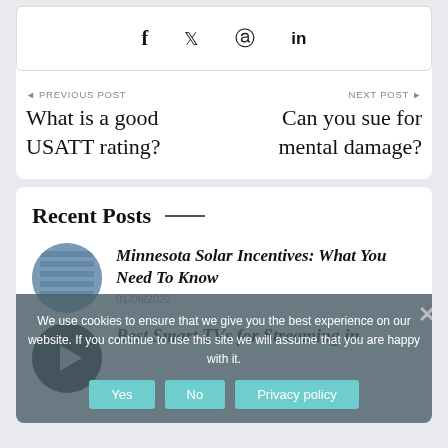[Figure (other): Social share bar with Facebook, Twitter, Pinterest, and LinkedIn icons]
◄ PREVIOUS POST
What is a good USATT rating?
NEXT POST ►
Can you sue for mental damage?
Recent Posts
Minnesota Solar Incentives: What You Need To Know
01/08/2022
Best Smart TVs for Streaming in
We use cookies to ensure that we give you the best experience on our website. If you continue to use this site we will assume that you are happy with it.